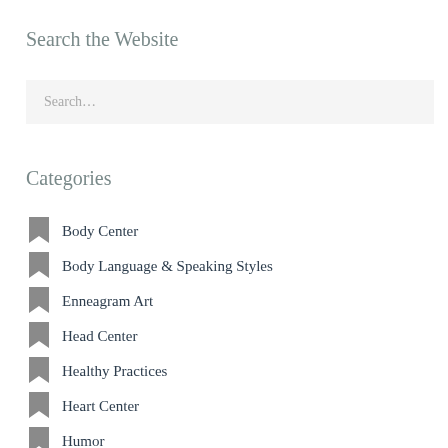Search the Website
Search…
Categories
Body Center
Body Language & Speaking Styles
Enneagram Art
Head Center
Healthy Practices
Heart Center
Humor
Interviews
Lists